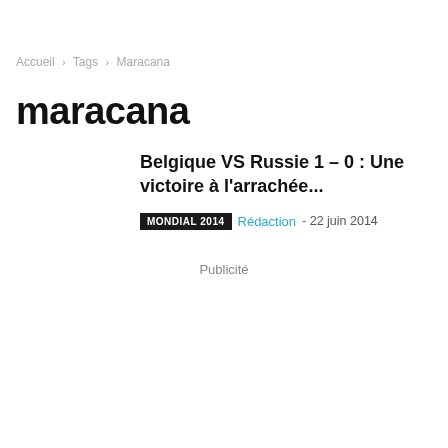Accueil > Tags > Maracana
maracana
Belgique VS Russie 1 – 0 : Une victoire à l'arrachée...
MONDIAL 2014  Rédaction - 22 juin 2014
Publicité